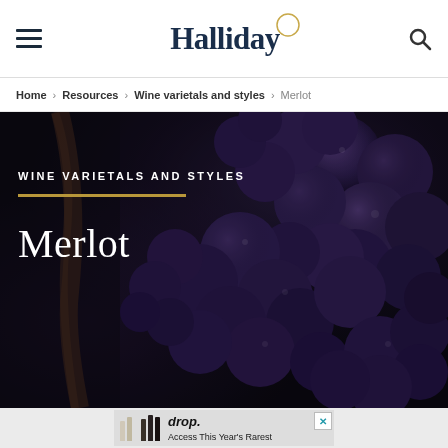Halliday (logo) — hamburger menu and search
Home › Resources › Wine varietals and styles › Merlot
[Figure (photo): Close-up photograph of dark blue-purple merlot grape clusters on the vine, with a dark moody background]
WINE VARIETALS AND STYLES
Merlot
[Figure (photo): Advertisement banner showing wine bottles and text 'drop. Access This Year's Rarest']